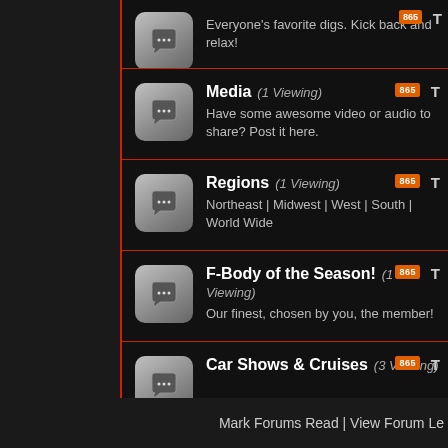Everyone's favorite digs. Kick back and relax!
Media (1 Viewing) — Have some awesome video or audio to share? Post it here.
Regions (1 Viewing) — Northeast | Midwest | West | South | World Wide
F-Body of the Season! (1 Viewing) — Our finest, chosen by you, the member!
Car Shows & Cruises (3 Viewing)
Off-Topic — A place where you can discuss some of your Off-Topic things
Mark Forums Read | View Forum Le